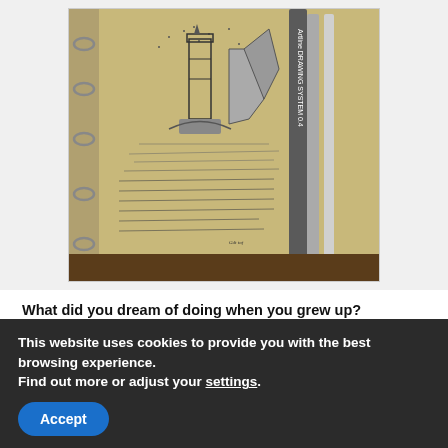[Figure (photo): Photo of an open sketchbook/journal with a pen-and-ink drawing of a lighthouse and handwritten text, alongside two drawing pens (Artline Drawing System 0.4). The notebook has ring binders on the left side.]
What did you dream of doing when you grew up?
I dreamt of doin' what I'm doin' now. Bein' a fisherman. I went to sea for a few years, when I were a younger man. Tried my 'and at whalin'. Nasty business, that. Not for me.
This website uses cookies to provide you with the best browsing experience.
Find out more or adjust your settings.